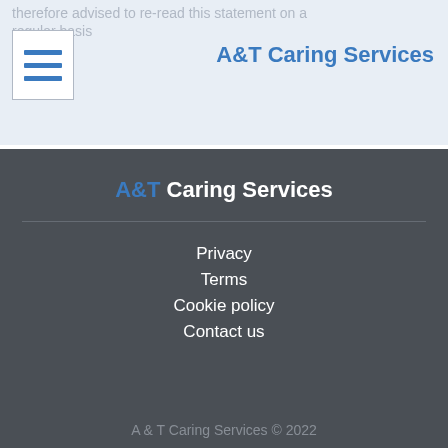therefore advised to re-read this statement on a regular basis
A&T Caring Services
A&T Caring Services
Privacy
Terms
Cookie policy
Contact us
A & T Caring Services © 2022